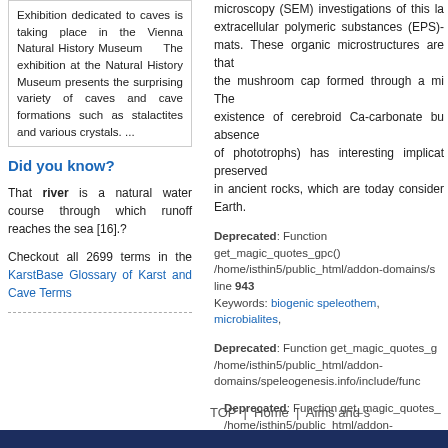Exhibition dedicated to caves is taking place in the Vienna Natural History Museum    The exhibition at the Natural History Museum presents the surprising variety of caves and cave formations such as stalactites and various crystals. ...
Did you know?
That river is a natural water course through which runoff reaches the sea [16].?
Checkout all 2699 terms in the KarstBase Glossary of Karst and Cave Terms
microscopy (SEM) investigations of this la extracellular polymeric substances (EPS)- mats. These organic microstructures are that the mushroom cap formed through a mi The existence of cerebroid Ca-carbonate bu absence of phototrophs) has interesting implicat preserved in ancient rocks, which are today consider Earth.
Deprecated: Function get_magic_quotes_gpc() /home/isthin5/public_html/addon-domains/s line 943
Keywords: biogenic speleothem, microbialites,
Deprecated: Function get_magic_quotes_g /home/isthin5/public_html/addon-domains/speleogenesis.info/include/func
Deprecated: Function get_magic_quotes_ /home/isthin5/public_html/addon-domains/speleogenesis.info/include/fur
TOP  |  Home  |  Aims and s